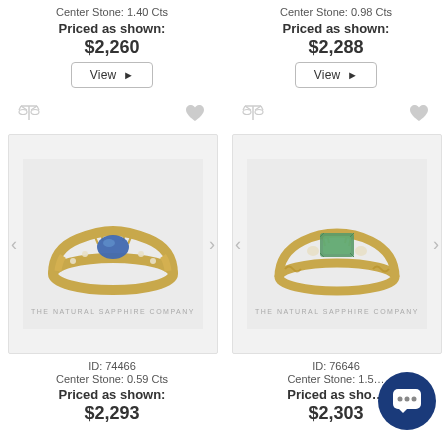Center Stone: 1.40 Cts
Priced as shown:
$2,260
Center Stone: 0.98 Cts
Priced as shown:
$2,288
[Figure (photo): Blue sapphire ring with diamond band in yellow gold setting, oval center stone]
[Figure (photo): Green sapphire emerald-cut ring in yellow gold with side diamonds]
ID: 74466
Center Stone: 0.59 Cts
Priced as shown:
$2,293
ID: 76646
Center Stone: 1.5...
Priced as sho...
$2,303